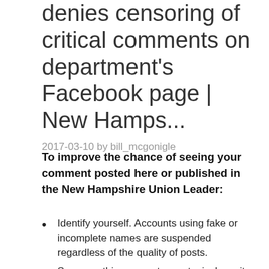denies censoring of critical comments on department's Facebook page | New Hamps...
2017-03-10 by bill_mcgonigle
To improve the chance of seeing your comment posted here or published in the New Hampshire Union Leader:
Identify yourself. Accounts using fake or incomplete names are suspended regardless of the quality of posts.
Say something new, stay on topic, keep it